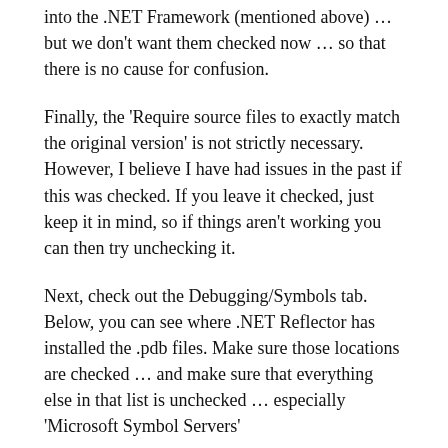into the .NET Framework (mentioned above) … but we don't want them checked now … so that there is no cause for confusion.
Finally, the 'Require source files to exactly match the original version' is not strictly necessary. However, I believe I have had issues in the past if this was checked. If you leave it checked, just keep it in mind, so if things aren't working you can then try unchecking it.
Next, check out the Debugging/Symbols tab. Below, you can see where .NET Reflector has installed the .pdb files. Make sure those locations are checked … and make sure that everything else in that list is unchecked … especially 'Microsoft Symbol Servers'
And, very importantly, make sure you have a clean symbol cache … by clicking the 'Empty Symbol